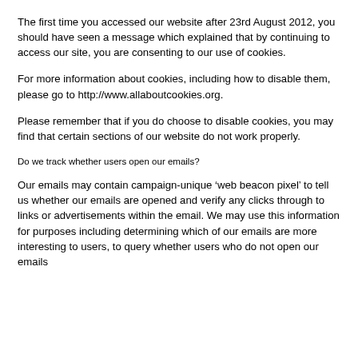The first time you accessed our website after 23rd August 2012, you should have seen a message which explained that by continuing to access our site, you are consenting to our use of cookies.
For more information about cookies, including how to disable them, please go to http://www.allaboutcookies.org.
Please remember that if you do choose to disable cookies, you may find that certain sections of our website do not work properly.
Do we track whether users open our emails?
Our emails may contain campaign-unique ‘web beacon pixel’ to tell us whether our emails are opened and verify any clicks through to links or advertisements within the email. We may use this information for purposes including determining which of our emails are more interesting to users, to query whether users who do not open our emails